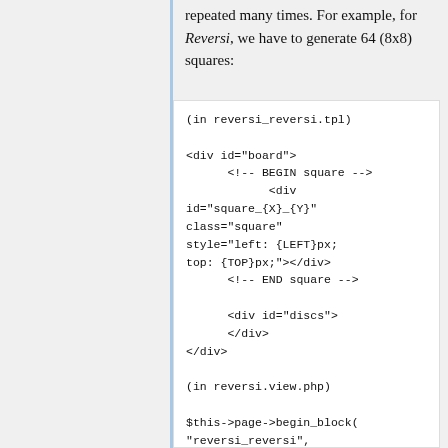repeated many times. For example, for Reversi, we have to generate 64 (8x8) squares:
(in reversi_reversi.tpl)

<div id="board">
      <!-- BEGIN square -->
            <div
id="square_{X}_{Y}"
class="square"
style="left: {LEFT}px;
top: {TOP}px;"></div>
      <!-- END square -->

      <div id="discs">
      </div>
</div>

(in reversi.view.php)

$this->page->begin_block(
"reversi_reversi",